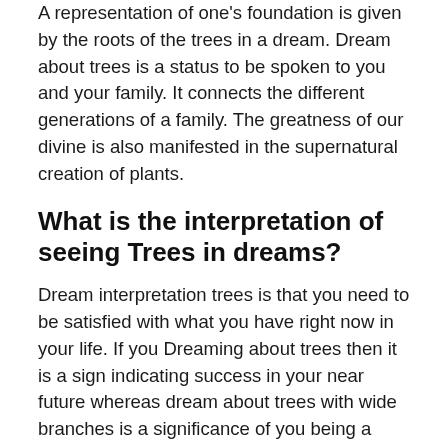A representation of one's foundation is given by the roots of the trees in a dream. Dream about trees is a status to be spoken to you and your family. It connects the different generations of a family. The greatness of our divine is also manifested in the supernatural creation of plants.
What is the interpretation of seeing Trees in dreams?
Dream interpretation trees is that you need to be satisfied with what you have right now in your life. If you Dreaming about trees then it is a sign indicating success in your near future whereas dream about trees with wide branches is a significance of you being a kind person who is eager to help others.